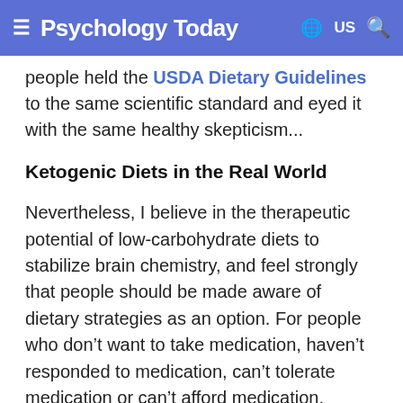≡ Psychology Today  🌐 US 🔍
people held the USDA Dietary Guidelines to the same scientific standard and eyed it with the same healthy skepticism...
Ketogenic Diets in the Real World
Nevertheless, I believe in the therapeutic potential of low-carbohydrate diets to stabilize brain chemistry, and feel strongly that people should be made aware of dietary strategies as an option. For people who don't want to take medication, haven't responded to medication, can't tolerate medication or can't afford medication, nutritional intervention can offer real hope and empowerment. I